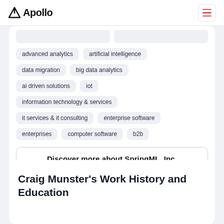Apollo
advanced analytics
artificial intelligence
data migration
big data analytics
ai driven solutions
iot
information technology & services
it services & it consulting
enterprise software
enterprises
computer software
b2b
Discover more about SpringML, Inc.
Craig Munster's Work History and Education